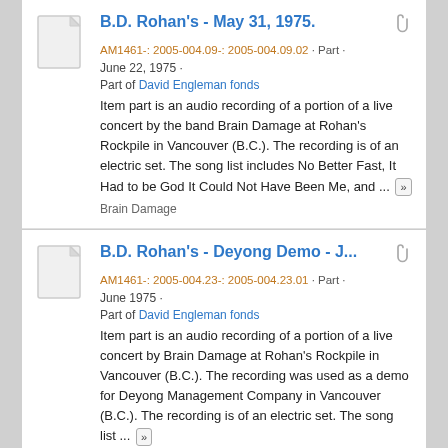B.D. Rohan's - May 31, 1975. AM1461-: 2005-004.09-: 2005-004.09.02 · Part · June 22, 1975 · Part of David Engleman fonds. Item part is an audio recording of a portion of a live concert by the band Brain Damage at Rohan's Rockpile in Vancouver (B.C.). The recording is of an electric set. The song list includes No Better Fast, It Had to be God It Could Not Have Been Me, and ... Brain Damage
B.D. Rohan's - Deyong Demo - J... AM1461-: 2005-004.23-: 2005-004.23.01 · Part · June 1975 · Part of David Engleman fonds. Item part is an audio recording of a portion of a live concert by Brain Damage at Rohan's Rockpile in Vancouver (B.C.). The recording was used as a demo for Deyong Management Company in Vancouver (B.C.). The recording is of an electric set. The song list ... Brain Damage